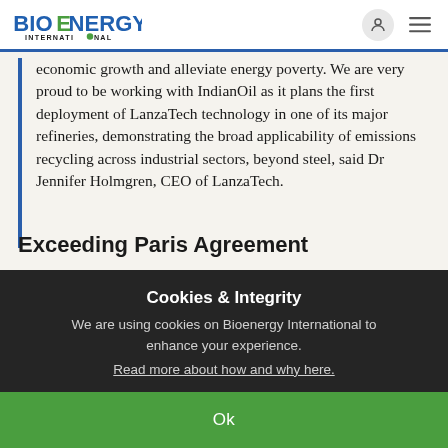Bioenergy International
economic growth and alleviate energy poverty. We are very proud to be working with IndianOil as it plans the first deployment of LanzaTech technology in one of its major refineries, demonstrating the broad applicability of emissions recycling across industrial sectors, beyond steel, said Dr Jennifer Holmgren, CEO of LanzaTech.
Exceeding Paris Agreement
Cookies & Integrity
We are using cookies on Bioenergy International to enhance your experience.
Read more about how and why here.
Ok